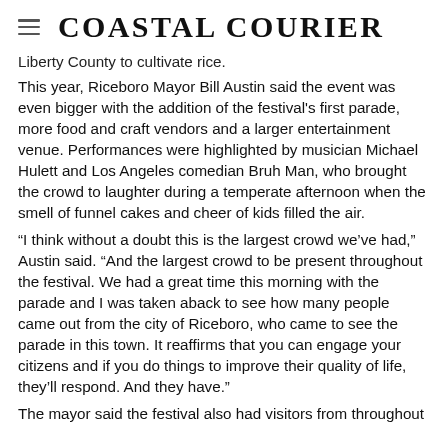Coastal Courier
Liberty County to cultivate rice.
This year, Riceboro Mayor Bill Austin said the event was even bigger with the addition of the festival's first parade, more food and craft vendors and a larger entertainment venue. Performances were highlighted by musician Michael Hulett and Los Angeles comedian Bruh Man, who brought the crowd to laughter during a temperate afternoon when the smell of funnel cakes and cheer of kids filled the air.
“I think without a doubt this is the largest crowd we’ve had,” Austin said. “And the largest crowd to be present throughout the festival. We had a great time this morning with the parade and I was taken aback to see how many people came out from the city of Riceboro, who came to see the parade in this town. It reaffirms that you can engage your citizens and if you do things to improve their quality of life, they’ll respond. And they have.”
The mayor said the festival also had visitors from throughout the community from across Florida.